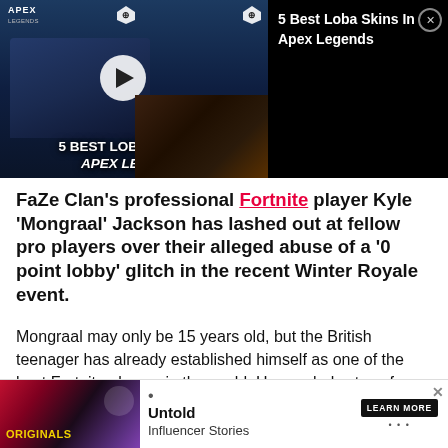[Figure (screenshot): Video thumbnail showing '5 Best Loba Skins in Apex Legends' with play button overlay, Apex Legends logo top-left, two diamond icons, and dark gaming scene background]
5 Best Loba Skins In Apex Legends
FaZe Clan's professional Fortnite player Kyle 'Mongraal' Jackson has lashed out at fellow pro players over their alleged abuse of a '0 point lobby' glitch in the recent Winter Royale event.
Mongraal may only be 15 years old, but the British teenager has already established himself as one of the best Fortnite players in the world. He regularly stuns fans w vhere he has
[Figure (screenshot): Advertisement banner for 'Originals: Untold Influencer Stories' with colorful logo image on left, bullet point, and LEARN MORE button on right]